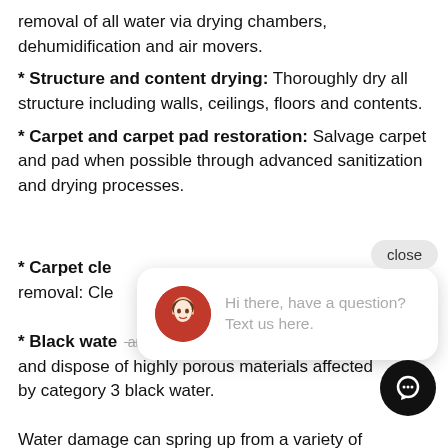removal of all water via drying chambers, dehumidification and air movers.
* Structure and content drying: Thoroughly dry all structure including walls, ceilings, floors and contents.
* Carpet and carpet pad restoration: Salvage carpet and pad when possible through advanced sanitization and drying processes.
* Carpet clea… removal: Cle…
* Black water… and sewage cleanup: sanitize and dispose of highly porous materials affected by category 3 black water.
Water damage can spring up from a variety of
[Figure (screenshot): Chat popup with avatar photo of a woman and text: Hi there, have a question? Text us here. Close button and chat icon button visible.]